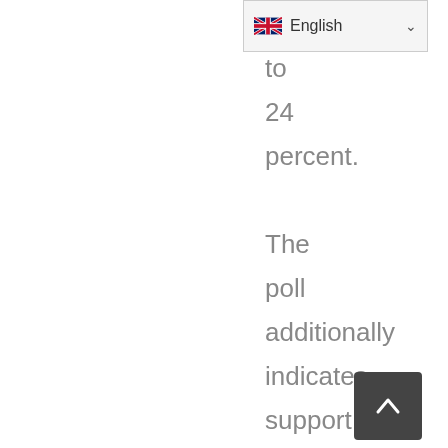[Figure (screenshot): Language selector dropdown showing UK flag and 'English' label with chevron arrow]
to 24 percent. The poll additionally indicates support for Biden's handing of the coronavirus